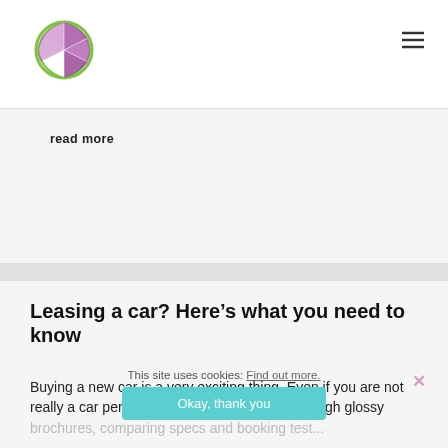Logo and navigation header
read more
Leasing a car? Here’s what you need to know
Buying a new car is a very exciting thing. Even if you are not really a car person, the process of looking through glossy brochures, comparing specs and booking test...
This site uses cookies: Find out more. Okay, thank you